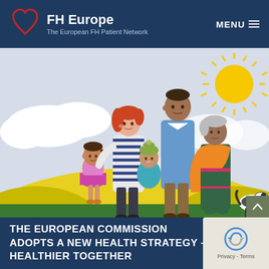FH Europe – The European FH Patient Network | MENU
[Figure (illustration): Illustrated family group consisting of a woman with red hair holding a baby in teal, a man in a blue sweater, an elderly woman in Indian dress with orange shawl, a young girl in pink, and a small black and white dog, set against a yellow and green landscape with clouds and a sun.]
THE EUROPEAN COMMISSION ADOPTS A NEW HEALTH STRATEGY – HEALTHIER TOGETHER